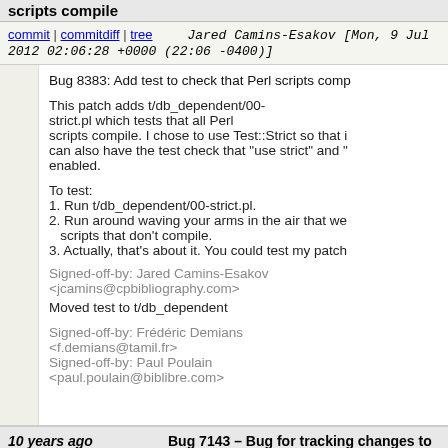scripts compile
commit | commitdiff | tree    Jared Camins-Esakov [Mon, 9 Jul 2012 02:06:28 +0000 (22:06 -0400)]
Bug 8383: Add test to check that Perl scripts comp

This patch adds t/db_dependent/00-strict.pl which tests that all Perl scripts compile. I chose to use Test::Strict so that it can also have the test check that "use strict" and "..." enabled.

To test:
1. Run t/db_dependent/00-strict.pl.
2. Run around waving your arms in the air that we have scripts that don't compile.
3. Actually, that's about it. You could test my patch

Signed-off-by: Jared Camins-Esakov <jcamins@cpbibliography.com>
Moved test to t/db_dependent

Signed-off-by: Frédéric Demians <f.demians@tamil.fr>
Signed-off-by: Paul Poulain <paul.poulain@biblibre.com>
10 years ago
about page
Bug 7143 – Bug for tracking changes to the